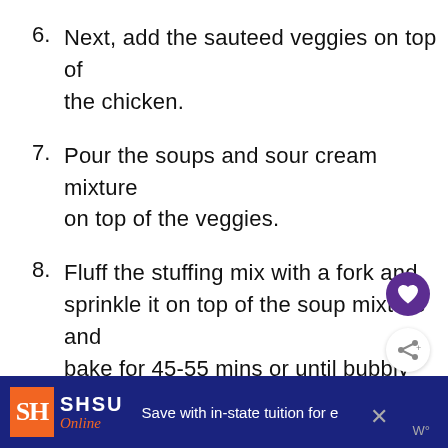6. Next, add the sauteed veggies on top of the chicken.
7. Pour the soups and sour cream mixture on top of the veggies.
8. Fluff the stuffing mix with a fork and sprinkle it on top of the soup mixture and bake for 45-55 mins or until bubbly and topping is brown and crunchy.
SH SHSU Online — Save with in-state tuition for e…